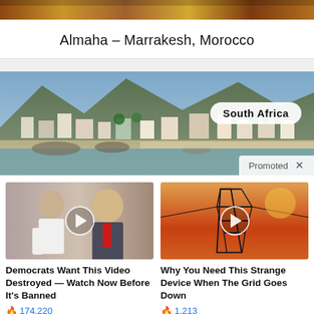[Figure (photo): Top strip of a decorative/travel photo, cropped]
Almaha – Marrakesh, Morocco
[Figure (photo): Coastal town in South Africa with mountains in background, beach and colorful buildings visible. Label reads 'South Africa'. Promoted content with X close button.]
[Figure (photo): Video thumbnail showing two people (woman and man in red tie) with play button. Article: Democrats Want This Video Destroyed — Watch Now Before It's Banned. 174,220 views.]
Democrats Want This Video Destroyed — Watch Now Before It's Banned
174,220
[Figure (photo): Video thumbnail showing electrical power tower against orange sky with play button. Article: Why You Need This Strange Device When The Grid Goes Down. 1,213 views.]
Why You Need This Strange Device When The Grid Goes Down
1,213